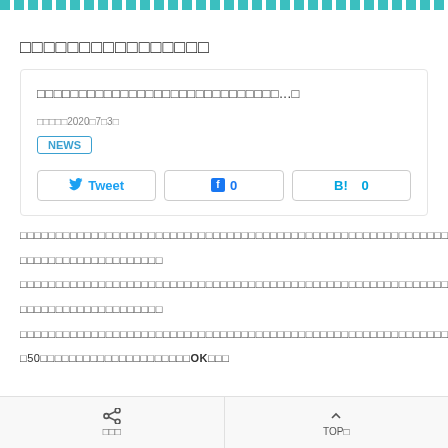decorative teal stripe
□□□□□□□□□□□□□□□□
□□□□□□□□□□□□□□□□□□□□□□□□□□□□□...□
□□□□□2020□7□3□
NEWS
Tweet   □ 0   B! 0
□□□□□□□□□□□□□□□□□□□□□□□□□□□□□□□□□□□□□□□□□□□□□□□□□□□□□□□□□□□□□□□□□□□□□□□□□□□□□□□□□□□□□□□□□□□□□□□□□□□□□□□□□□□□□□□□□□□□□□□□□□□□□□□□□□□□□□□□□□□□□
□□□□□□□□□□□□□□□□□□□□
□□□□□□□□□□□□□□□□□□□□□□□□□□□□□□□□□□□□□□□□□□□□□□□□□□□□□□□□□□□□□□□□□□□□□□□□□□□□□□□□□□□□□□□□□□□□□□□□□□□□□□□□□□□□□□□□□□□□□□□□□□□□□□□□□□□□□□□□□□□□□
□□□□□□□□□□□□□□□□□□□□
□□□□□□□□□□□□□□□□□□□□□□□□□□□□□□□□□□□□□□□□□□□□□□□□□□□□□□□□□□□□□□□□□□□□□□□□□□□□□□□□□□□□□□□□□□□□□□□□□□□□□□□□□□□□□□□□□□□□□□□□□□□□□□□□□□□□□□□□□□□□□
□50□□□□□□□□□□□□□□□□□□□□□OK□□□
シェア   TOP↑